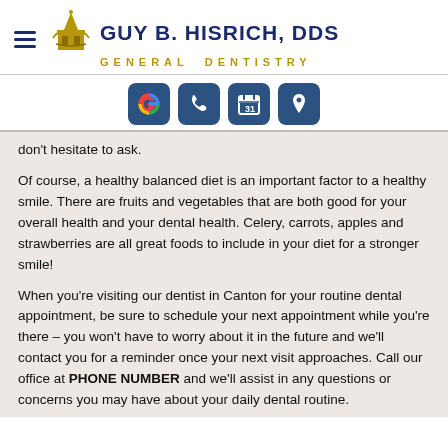[Figure (logo): Guy B. Hisrich DDS General Dentistry logo with golden eagle/building icon, hamburger menu icon on left, name in dark navy bold text, subtitle in gold spaced letters]
[Figure (infographic): Row of four icon buttons: Google G icon (multicolor), phone icon (white), calendar with 31 icon (white), map pin icon (white) — all on dark navy rounded square backgrounds]
don't hesitate to ask.
Of course, a healthy balanced diet is an important factor to a healthy smile. There are fruits and vegetables that are both good for your overall health and your dental health. Celery, carrots, apples and strawberries are all great foods to include in your diet for a stronger smile!
When you're visiting our dentist in Canton for your routine dental appointment, be sure to schedule your next appointment while you're there – you won't have to worry about it in the future and we'll contact you for a reminder once your next visit approaches. Call our office at PHONE NUMBER and we'll assist in any questions or concerns you may have about your daily dental routine.